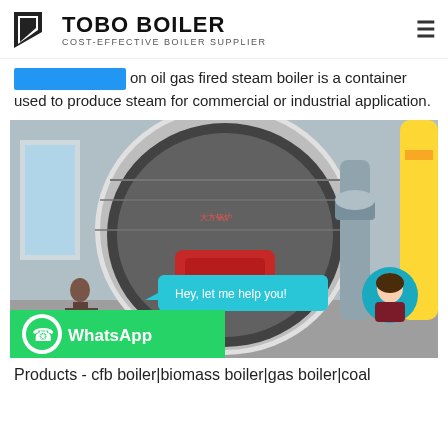TOBO BOILER COST-EFFECTIVE BOILER SUPPLIER
on oil gas fired steam boiler is a container used to produce steam for commercial or industrial application.
[Figure (photo): Industrial oil gas fired steam boiler in a factory setting, with a large cylindrical boiler body, red burner, connected piping and yellow gas pipe on the right. Overlay shows a chat bubble 'Hey, let me help you!' with an avatar, and a WhatsApp button at bottom left.]
Products - cfb boiler|biomass boiler|gas boiler|coal